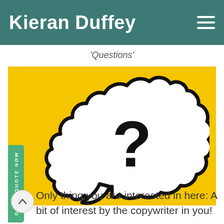Kieran Duffey
'Questions'
[Figure (photo): Yellow background with a white speech bubble cutout containing a large question mark, photographed as a standalone object against a bright yellow surface.]
Only thing you are interested in here: A bit of interest by the copywriter in you!